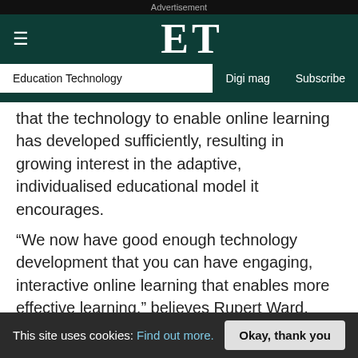Advertisement
ET — Education Technology | Digi mag | Subscribe
that the technology to enable online learning has developed sufficiently, resulting in growing interest in the adaptive, individualised educational model it encourages.
“We now have good enough technology development that you can have engaging, interactive online learning that enables more effective learning,” believes Rupert Ward, professor of learning innovation, school of computing and engineering at the University of
This site uses cookies: Find out more. Okay, thank you